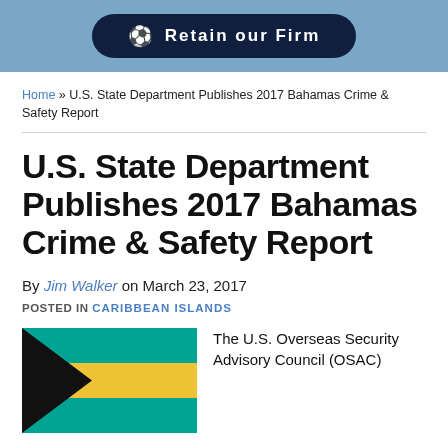[Figure (other): Dark navy rounded button with soccer ball icon and text 'Retain our Firm' on a steel blue banner background]
Home » U.S. State Department Publishes 2017 Bahamas Crime & Safety Report
U.S. State Department Publishes 2017 Bahamas Crime & Safety Report
By Jim Walker on March 23, 2017
POSTED IN CARIBBEAN ISLANDS
[Figure (illustration): Bahamas flag with black triangle on left, aqua/teal and gold horizontal stripes]
The U.S. Overseas Security Advisory Council (OSAC)